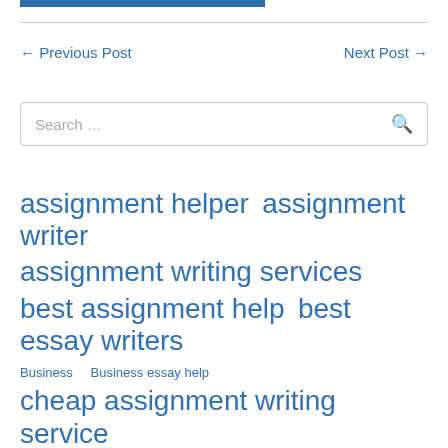← Previous Post   Next Post →
Search …
assignment helper
assignment writer
assignment writing services
best assignment help
best essay writers
Business
Business essay help
cheap assignment writing service
custom essay
custom writing service
essay helper free